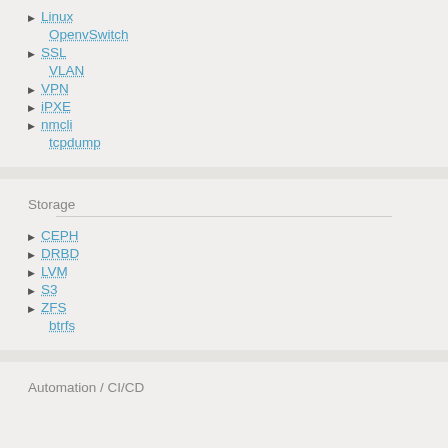Linux
OpenvSwitch
SSL
VLAN
VPN
iPXE
nmcli
tcpdump
Storage
CEPH
DRBD
LVM
S3
ZFS
btrfs
Automation / CI/CD